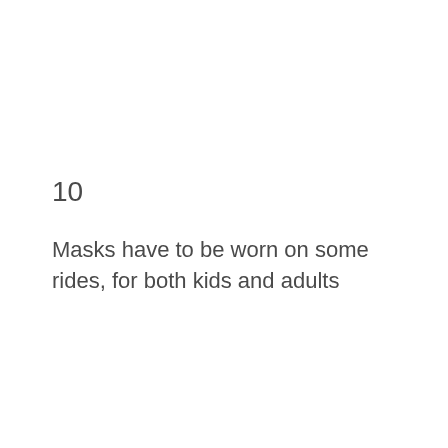10
Masks have to be worn on some rides, for both kids and adults